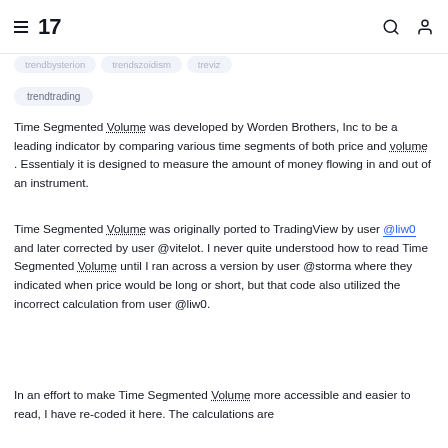TradingView navigation header with logo and icons
trendtrading
Time Segmented Volume was developed by Worden Brothers, Inc to be a leading indicator by comparing various time segments of both price and volume . Essentialy it is designed to measure the amount of money flowing in and out of an instrument.
Time Segmented Volume was originally ported to TradingView by user @liw0 and later corrected by user @vitelot. I never quite understood how to read Time Segmented Volume until I ran across a version by user @storma where they indicated when price would be long or short, but that code also utilized the incorrect calculation from user @liw0.
In an effort to make Time Segmented Volume more accessible and easier to read, I have re-coded it here. The calculations are